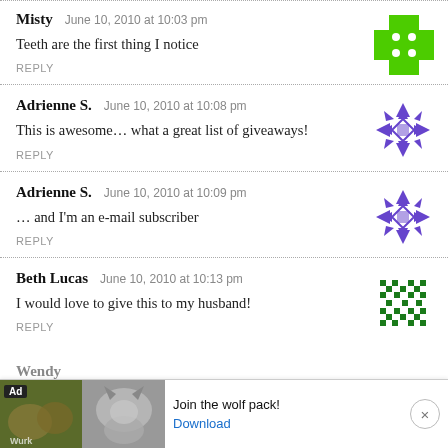Misty — June 10, 2010 at 10:03 pm
Teeth are the first thing I notice
REPLY
Adrienne S. — June 10, 2010 at 10:08 pm
This is awesome… what a great list of giveaways!
REPLY
Adrienne S. — June 10, 2010 at 10:09 pm
… and I'm an e-mail subscriber
REPLY
Beth Lucas — June 10, 2010 at 10:13 pm
I would love to give this to my husband!
REPLY
Wendy
[Figure (other): Advertisement banner: wolves image with text 'Join the wolf pack!' and Download button]